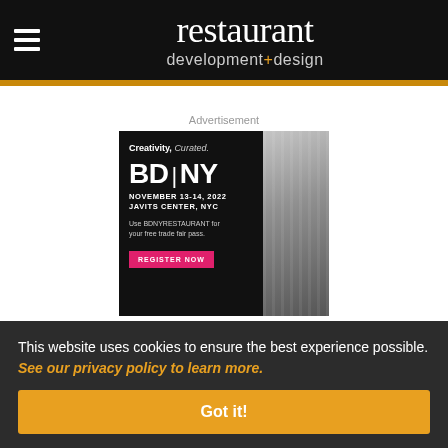restaurant development+design
Advertisement
[Figure (illustration): BD|NY advertisement: 'Creativity, Curated.' BD|NY NOVEMBER 13-14, 2022 JAVITS CENTER, NYC. Use BDNYRESTAURANT for your free trade fair pass. REGISTER NOW button. Right side shows architectural column image.]
Most Popular Articles
This website uses cookies to ensure the best experience possible. See our privacy policy to learn more.
Got it!